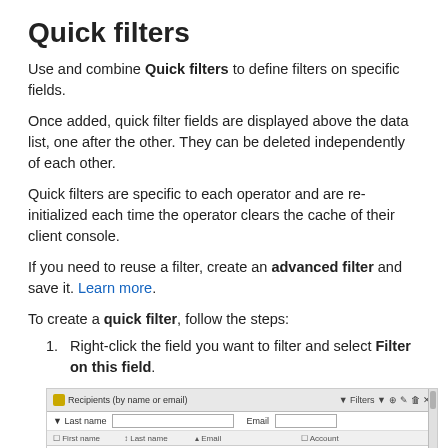Quick filters
Use and combine Quick filters to define filters on specific fields.
Once added, quick filter fields are displayed above the data list, one after the other. They can be deleted independently of each other.
Quick filters are specific to each operator and are re-initialized each time the operator clears the cache of their client console.
If you need to reuse a filter, create an advanced filter and save it. Learn more.
To create a quick filter, follow the steps:
Right-click the field you want to filter and select Filter on this field.
[Figure (screenshot): Screenshot of a Recipients data list interface showing a filter bar with 'Last name' and 'Email' filter fields, column headers (First name, Last name, Email, Account), and a data row with 'Mina', 'Laurenz', 'Taumo@domain.com']